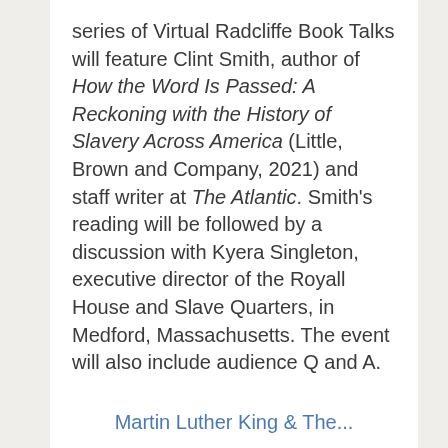series of Virtual Radcliffe Book Talks will feature Clint Smith, author of How the Word Is Passed: A Reckoning with the History of Slavery Across America (Little, Brown and Company, 2021) and staff writer at The Atlantic. Smith's reading will be followed by a discussion with Kyera Singleton, executive director of the Royall House and Slave Quarters, in Medford, Massachusetts. The event will also include audience Q and A.
...
Martin Luther King & The...